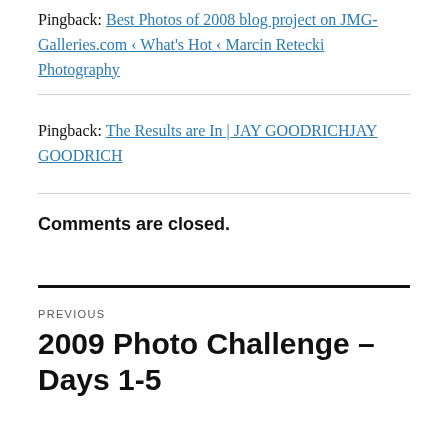Pingback: Best Photos of 2008 blog project on JMG-Galleries.com ‹ What's Hot ‹ Marcin Retecki Photography
Pingback: The Results are In | JAY GOODRICHJAY GOODRICH
Comments are closed.
Previous
2009 Photo Challenge – Days 1-5